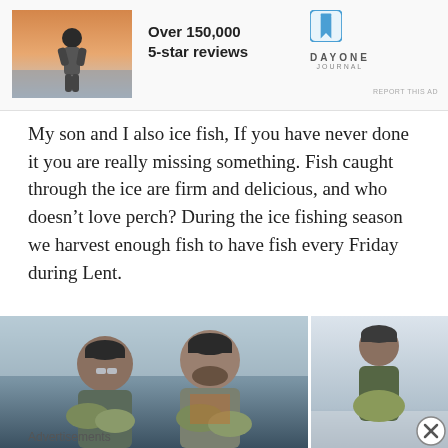[Figure (photo): Advertisement banner with a person holding a phone against a sunset sky, Day One Journal logo, text 'Over 150,000 5-star reviews']
My son and I also ice fish,  If you have never done it you are really missing something.  Fish caught through the ice are firm and delicious, and who doesn’t love perch?  During  the ice fishing season we harvest enough fish to have fish every Friday during Lent.
[Figure (photo): Two men holding fish (crappie/perch) outdoors, and a separate photo of a person in camouflage holding a fish on ice]
Advertisements